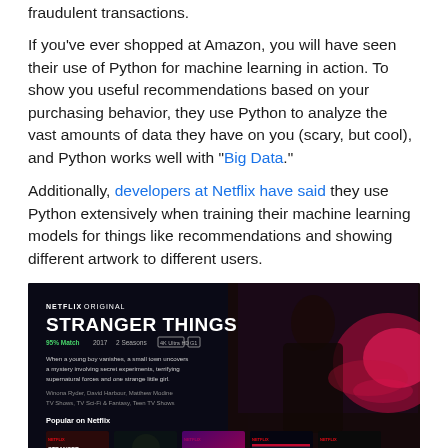fraudulent transactions.
If you've ever shopped at Amazon, you will have seen their use of Python for machine learning in action. To show you useful recommendations based on your purchasing behavior, they use Python to analyze the vast amounts of data they have on you (scary, but cool), and Python works well with "Big Data."
Additionally, developers at Netflix have said they use Python extensively when training their machine learning models for things like recommendations and showing different artwork to different users.
[Figure (screenshot): Netflix original page showing Stranger Things series with title, match percentage, year, seasons, quality badges, description, cast, genres, and Popular on Netflix thumbnails row at bottom]